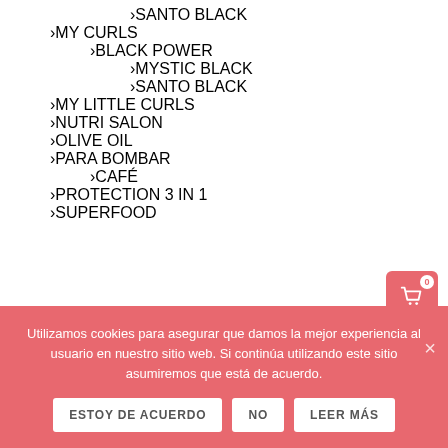> SANTO BLACK
> MY CURLS
> BLACK POWER
> MYSTIC BLACK
> SANTO BLACK
> MY LITTLE CURLS
> NUTRI SALON
> OLIVE OIL
> PARA BOMBAR
> CAFÉ
> PROTECTION 3 IN 1
> SUPERFOOD
Utilizamos cookies para asegurar que damos la mejor experiencia al usuario en nuestro sitio web. Si continúa utilizando este sitio asumiremos que está de acuerdo.
ESTOY DE ACUERDO | NO | LEER MÁS